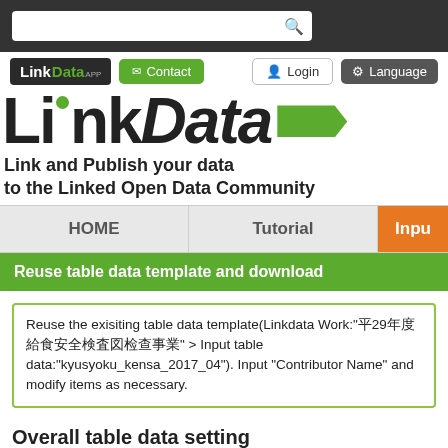[Figure (screenshot): LinkData website header with dark top navigation bar containing a search box, Login button, Language button, LinkData App logo badge, and Contact button.]
LinkData
Link and Publish your data to the Linked Open Data Community
HOME | Tutorial | Input
Reuse table data template and download
Reuse the exisiting table data template(Linkdata Work:"帩29年度給食安全検査圖检查事業" > Input table data:"kyusyoku_kensa_2017_04"). Input "Contributor Name" and modify items as necessary.
Overall table data setting
*Required field